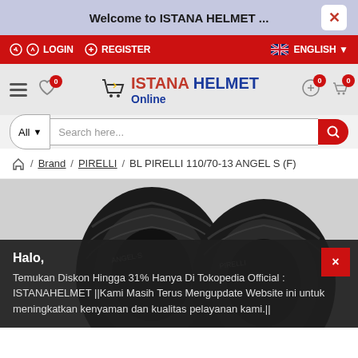Welcome to ISTANA HELMET ...
LOGIN  REGISTER  ENGLISH
[Figure (logo): ISTANA HELMET Online logo with shopping cart icon]
All  Search here...
Home / Brand / PIRELLI / BL PIRELLI 110/70-13 ANGEL S (F)
[Figure (photo): Two Pirelli Angel S tires shown side by side on dark background]
Halo, Temukan Diskon Hingga 31% Hanya Di Tokopedia Official : ISTANAHELMET ||Kami Masih Terus Mengupdate Website ini untuk meningkatkan kenyaman dan kualitas pelayanan kami.||